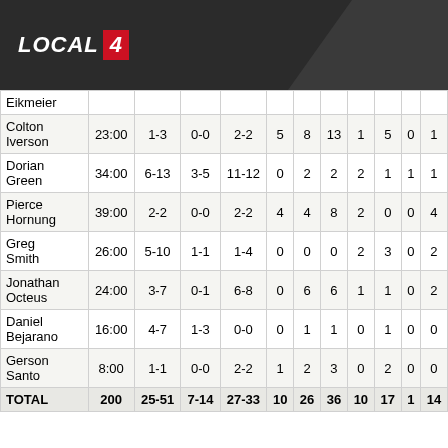LOCAL 4
| Player | MIN | FG | 3P | FT | OR | DR | REB | A | PF | TO | PTS |
| --- | --- | --- | --- | --- | --- | --- | --- | --- | --- | --- | --- |
| Eikmeier |  |  |  |  |  |  |  |  |  |  |  |
| Colton Iverson | 23:00 | 1-3 | 0-0 | 2-2 | 5 | 8 | 13 | 1 | 5 | 0 | 1 |
| Dorian Green | 34:00 | 6-13 | 3-5 | 11-12 | 0 | 2 | 2 | 2 | 1 | 1 | 1 |
| Pierce Hornung | 39:00 | 2-2 | 0-0 | 2-2 | 4 | 4 | 8 | 2 | 0 | 0 | 4 |
| Greg Smith | 26:00 | 5-10 | 1-1 | 1-4 | 0 | 0 | 0 | 2 | 3 | 0 | 2 |
| Jonathan Octeus | 24:00 | 3-7 | 0-1 | 6-8 | 0 | 6 | 6 | 1 | 1 | 0 | 2 |
| Daniel Bejarano | 16:00 | 4-7 | 1-3 | 0-0 | 0 | 1 | 1 | 0 | 1 | 0 | 0 |
| Gerson Santo | 8:00 | 1-1 | 0-0 | 2-2 | 1 | 2 | 3 | 0 | 2 | 0 | 0 |
| TOTAL | 200 | 25-51 | 7-14 | 27-33 | 10 | 26 | 36 | 10 | 17 | 1 | 14 |